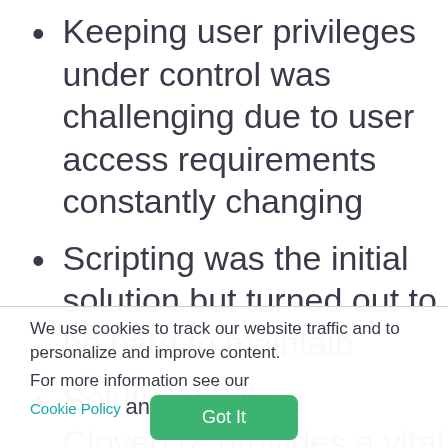Keeping user privileges under control was challenging due to user access requirements constantly changing
Scripting was the initial solution but turned out to be hard to maintain
Solution built on CloverDX provides a vital monitoring and audit service that
We use cookies to track our website traffic and to personalize and improve content.

For more information see our Cookie Policy and Privacy Policy
Got It